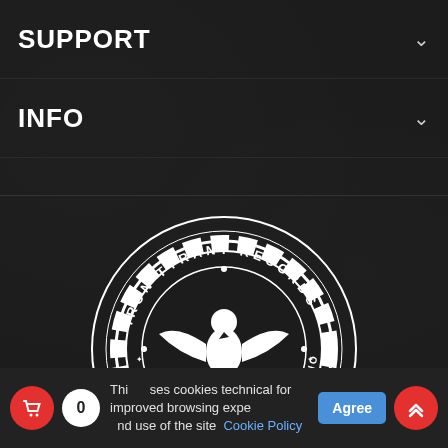SUPPORT
INFO
[Figure (logo): Iron Tyrant Records circular logo with eagle and gear — text reads IRON TYRANT RECORDS ADVANCEMENT THROUGH TRADITION]
[Figure (infographic): Row of 5 social media icon circles: Facebook, Twitter, Bandcamp, Instagram, SoundCloud]
This site uses cookies technical for improved browsing experience and use of the site Cookie Policy Agree